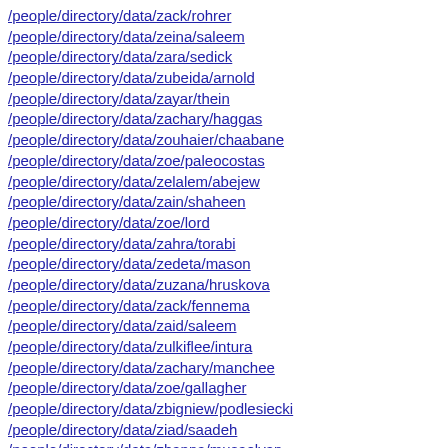/people/directory/data/zack/rohrer
/people/directory/data/zeina/saleem
/people/directory/data/zara/sedick
/people/directory/data/zubeida/arnold
/people/directory/data/zayar/thein
/people/directory/data/zachary/haggas
/people/directory/data/zouhaier/chaabane
/people/directory/data/zoe/paleocostas
/people/directory/data/zelalem/abejew
/people/directory/data/zain/shaheen /people/directory/data/zoe/lord
/people/directory/data/zahra/torabi
/people/directory/data/zedeta/mason
/people/directory/data/zuzana/hruskova
/people/directory/data/zack/fennema
/people/directory/data/zaid/saleem
/people/directory/data/zulkiflee/intura
/people/directory/data/zachary/manchee
/people/directory/data/zoe/gallagher
/people/directory/data/zbigniew/podlesiecki
/people/directory/data/ziad/saadeh
/people/directory/data/zhanna/musaelyan
/people/directory/data/zanodumo/banda
/people/directory/data/zulfayandi/pawanis
/people/directory/data/zach/svoboda
/people/directory/data/zhai/lydia